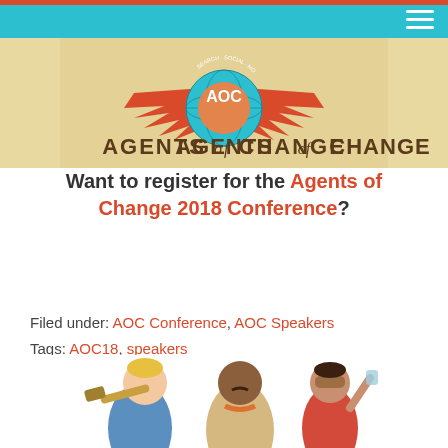[Figure (logo): Agents of Change (AOC) conference logo with wings, globe, and retro banner. Search, Social, Mobile tagline.]
Want to register for the Agents of Change 2018 Conference?
Filed under: AOC Conference, AOC Speakers
Tags: AOC18, speakers
[Figure (illustration): Cartoon illustration of three adventure characters: a blond man with telescope, a dark-skinned man in explorer outfit, and a woman with goggles.]